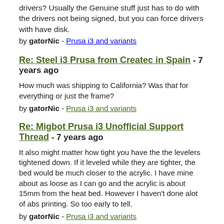drivers? Usually the Genuine stuff just has to do with the drivers not being signed, but you can force drivers with have disk.
by gatorNic - Prusa i3 and variants
Re: Steel i3 Prusa from Createc in Spain - 7 years ago
How much was shipping to California? Was that for everything or just the frame?
by gatorNic - Prusa i3 and variants
Re: Migbot Prusa i3 Unofficial Support Thread - 7 years ago
It also might matter how tight you have the the levelers tightened down. If it leveled while they are tighter, the bed would be much closer to the acrylic. I have mine about as loose as I can go and the acrylic is about 15mm from the heat bed. However I haven't done alot of abs printing. So too early to tell.
by gatorNic - Prusa i3 and variants
Re: Migbot Prusa i3 Unofficial Support Thread - 7 years ago
Quotejbehan Anyone have their acrylic Y axis carriage warp from heat while printing ABS? I did tonight, son-of-a...just found the sweet spot too. Thoughts on a replacement? I haven't started printing with ABS yet. Was just about to. Was it a long print? Think I remember somebody on this thread buying this one: Amazon but if you don't need the bearings, etc I think this one